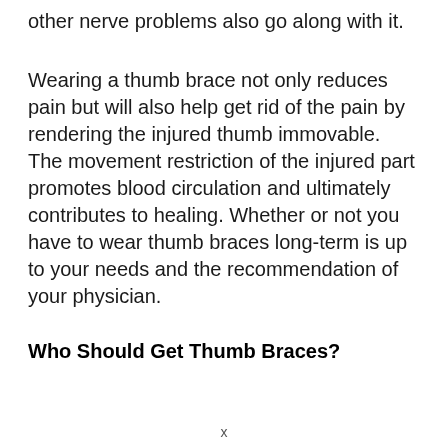other nerve problems also go along with it.
Wearing a thumb brace not only reduces pain but will also help get rid of the pain by rendering the injured thumb immovable. The movement restriction of the injured part promotes blood circulation and ultimately contributes to healing. Whether or not you have to wear thumb braces long-term is up to your needs and the recommendation of your physician.
Who Should Get Thumb Braces?
X